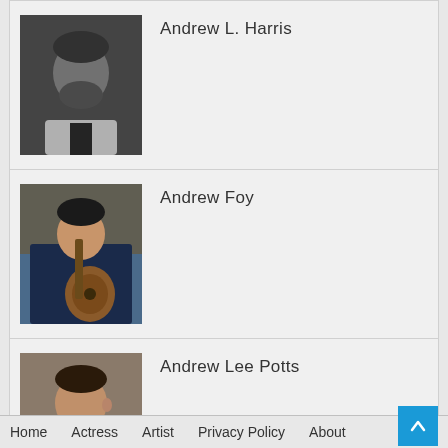Andrew L. Harris
Andrew Foy
Andrew Lee Potts
Home   Actress   Artist   Privacy Policy   About